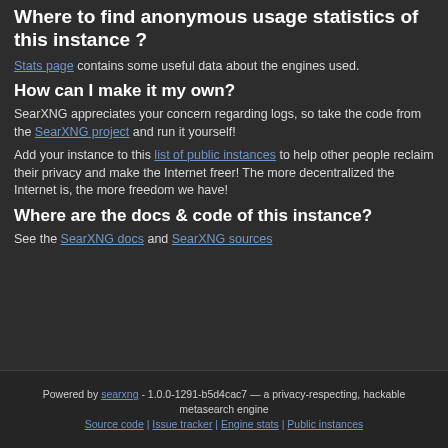Where to find anonymous usage statistics of this instance ?
Stats page contains some useful data about the engines used.
How can I make it my own?
SearXNG appreciates your concern regarding logs, so take the code from the SearXNG project and run it yourself!
Add your instance to this list of public instances to help other people reclaim their privacy and make the Internet freer! The more decentralized the Internet is, the more freedom we have!
Where are the docs & code of this instance?
See the SearXNG docs and SearXNG sources
Powered by searxng - 1.0.0-1291-b5d4cac7 — a privacy-respecting, hackable metasearch engine
Source code | Issue tracker | Engine stats | Public instances